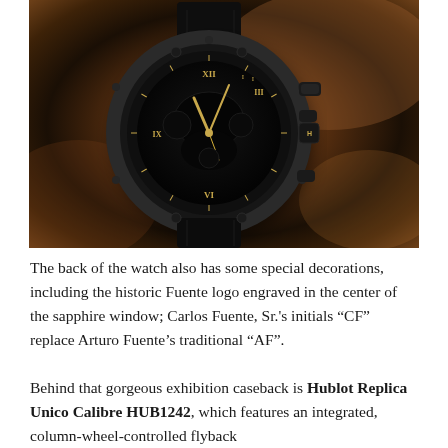[Figure (photo): Close-up photo of a Hublot luxury watch with black case and bezel, skeleton dial with gold Roman numerals and gold hands, worn on a dark leather strap, set against a warm brown blurred background.]
The back of the watch also has some special decorations, including the historic Fuente logo engraved in the center of the sapphire window; Carlos Fuente, Sr.'s initials “CF” replace Arturo Fuente’s traditional “AF”.
Behind that gorgeous exhibition caseback is Hublot Replica Unico Calibre HUB1242, which features an integrated, column-wheel-controlled flyback